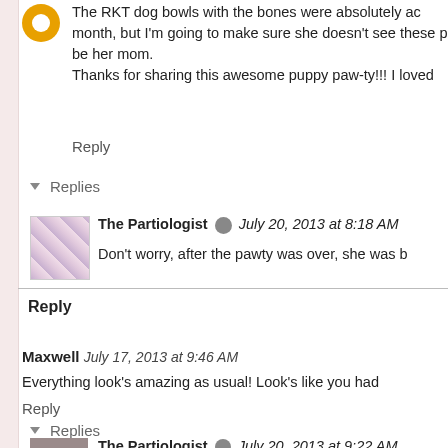The RKT dog bowls with the bones were absolutely adorable! month, but I'm going to make sure she doesn't see these p be her mom.
Thanks for sharing this awesome puppy paw-ty!!! I loved
Reply
Replies
The Partiologist  July 20, 2013 at 8:18 AM
Don't worry, after the pawty was over, she was b
Reply
Maxwell  July 17, 2013 at 9:46 AM
Everything look's amazing as usual! Look's like you had
Reply
Replies
The Partiologist  July 20, 2013 at 9:22 AM